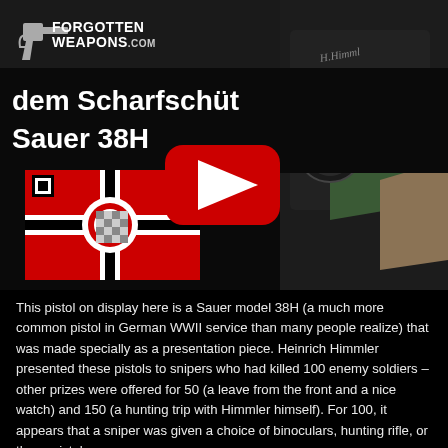[Figure (screenshot): YouTube video thumbnail from ForgottenWeapons.com showing a Sauer 38H pistol presentation piece. The thumbnail includes the ForgottenWeapons.com logo with a pistol silhouette, text reading 'dem Scharfschützen Sauer 38H', a German WWII Kriegsmarine war flag (Reichskriegsflagge), a close-up photo of a pistol with green felt and engraving, and a YouTube play button overlay.]
This pistol on display here is a Sauer model 38H (a much more common pistol in German WWII service than many people realize) that was made specially as a presentation piece. Heinrich Himmler presented these pistols to snipers who had killed 100 enemy soldiers – other prizes were offered for 50 (a leave from the front and a nice watch) and 150 (a hunting trip with Himmler himself). For 100, it appears that a sniper was given a choice of binoculars, hunting rifle, or these pistols.
However, research actually showed here can presenter actually ruled in to...